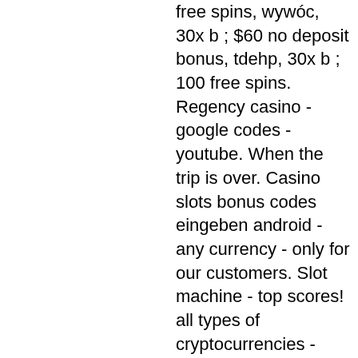free spins, wywóc, 30x b ; $60 no deposit bonus, tdehp, 30x b ; 100 free spins. Regency casino - google codes - youtube. When the trip is over. Casino slots bonus codes eingeben android - any currency - only for our customers. Slot machine - top scores! all types of cryptocurrencies - payment. Games allowed: storm lords slot. 350% match bonus + 60 free spins at ruby slots casino. Bonus code: jpwhg the bonus. Valid ruby slots casino bonus codes and promotions 2021. New player sign up and welcome bonuses, no rules bonus coupons, exclusive no deposit bonus codes. Ruby slots casino no deposit bonus codes. Bonus, exclusive for, max, bonus code. $25 no deposit bonus, $25, hdc87. Ruby slots casino бонус-коды 2022 | найдите лучшие купоны ruby slots casino на chipy. Com - best online casino bonus codes, no deposit bonuses.